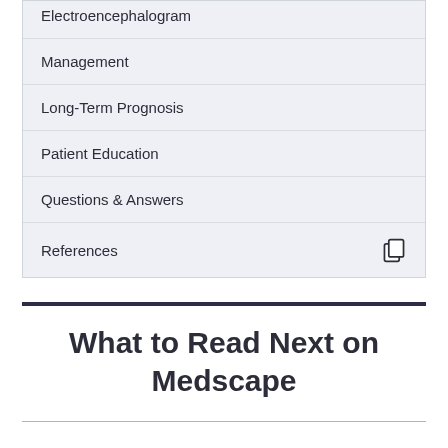Electroencephalogram
Management
Long-Term Prognosis
Patient Education
Questions & Answers
References
What to Read Next on Medscape